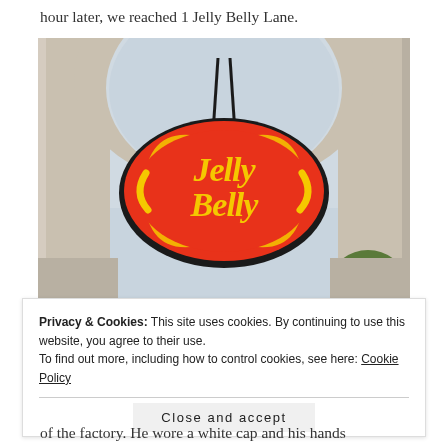hour later, we reached 1 Jelly Belly Lane.
[Figure (photo): A Jelly Belly branded sign hanging under a large arched gateway structure, viewed from below. The sign is orange and red with a yellow Jelly Belly logo in cursive script, shaped like a jelly bean. The background shows a light grey/blue sky and building columns.]
Privacy & Cookies: This site uses cookies. By continuing to use this website, you agree to their use.
To find out more, including how to control cookies, see here: Cookie Policy
Close and accept
of the factory. He wore a white cap and his hands